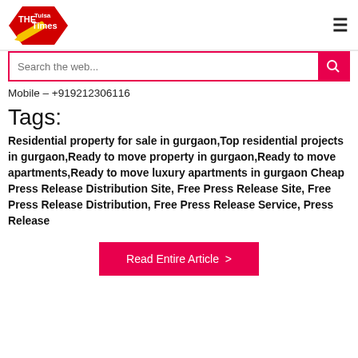THE Tulsa Times [logo] [hamburger menu]
Search the web...
Mobile – +919212306116
Tags:
Residential property for sale in gurgaon,Top residential projects in gurgaon,Ready to move property in gurgaon,Ready to move apartments,Ready to move luxury apartments in gurgaon Cheap Press Release Distribution Site, Free Press Release Site, Free Press Release Distribution, Free Press Release Service, Press Release
Read Entire Article >